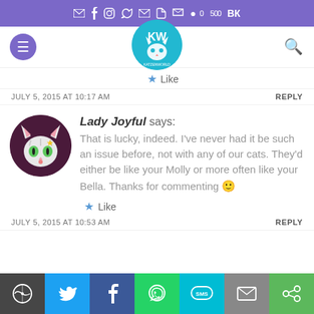Social media share bar icons
[Figure (logo): Katzenwelt blog logo - circular teal badge with cat illustration]
Like
JULY 5, 2015 AT 10:17 AM   REPLY
Lady Joyful says: That is lucky, indeed. I've never had it be such an issue before, not with any of our cats. They'd either be like your Molly or more often like your Bella. Thanks for commenting 🙂
Like
JULY 5, 2015 AT 10:53 AM   REPLY
[Figure (infographic): Social share bar at bottom with WordPress, Twitter, Facebook, WhatsApp, SMS, Email, and other share buttons]